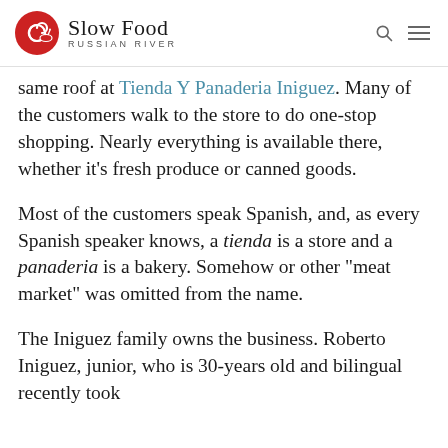Slow Food Russian River
same roof at Tienda Y Panaderia Iniguez. Many of the customers walk to the store to do one-stop shopping. Nearly everything is available there, whether it’s fresh produce or canned goods.
Most of the customers speak Spanish, and, as every Spanish speaker knows, a tienda is a store and a panaderia is a bakery. Somehow or other “meat market” was omitted from the name.
The Iniguez family owns the business. Roberto Iniguez, junior, who is 30-years old and bilingual recently took